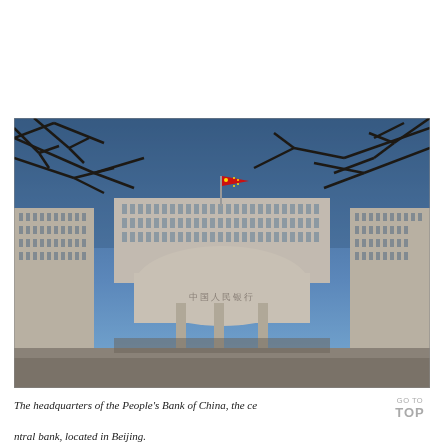[Figure (photo): Photograph of the headquarters building of the People's Bank of China. A large curved granite-clad government building with Chinese characters on the facade, flanked by tall rectangular wings. A red Chinese flag flies from a flagpole in the center. Bare tree branches frame the upper portion of the image against a clear blue sky.]
The headquarters of the People's Bank of China, the ce...
ntral bank, located in Beijing.